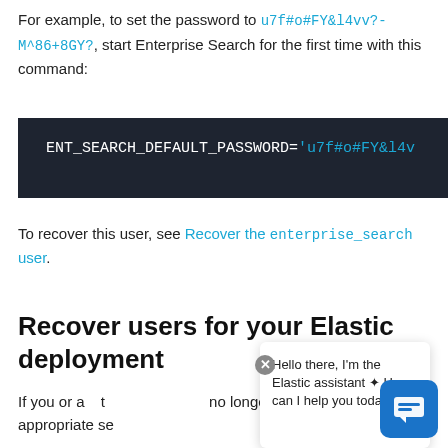For example, to set the password to u7f#o#FY&l4vv?-M^86+8GY?, start Enterprise Search for the first time with this command:
[Figure (screenshot): Dark code block showing: ENT_SEARCH_DEFAULT_PASSWORD='u7f#o#FY&l4v]
To recover this user, see Recover the enterprise_search user.
Recover users for your Elastic deployment
If you or another admin can no longer log in, you need to use the appropriate se...